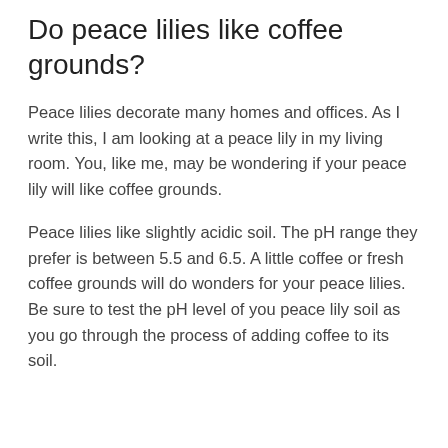Do peace lilies like coffee grounds?
Peace lilies decorate many homes and offices. As I write this, I am looking at a peace lily in my living room. You, like me, may be wondering if your peace lily will like coffee grounds.
Peace lilies like slightly acidic soil. The pH range they prefer is between 5.5 and 6.5. A little coffee or fresh coffee grounds will do wonders for your peace lilies. Be sure to test the pH level of you peace lily soil as you go through the process of adding coffee to its soil.